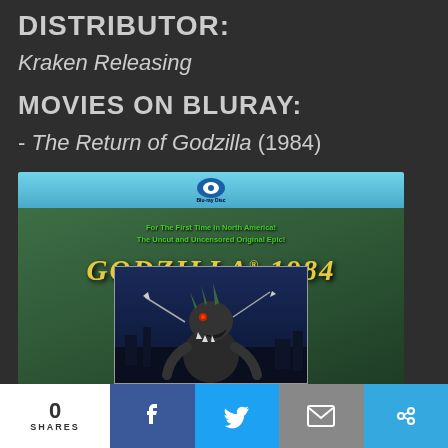DISTRIBUTOR:
Kraken Releasing
MOVIES ON BLURAY:
- The Return of Godzilla (1984)
[Figure (photo): Blu-ray disc cover for Godzilla 1984, showing the Blu-ray logo at top, green textured background, yellow italic title 'GODZILLA 1984', green promotional text reading 'For The First Time In North America! The Uncut and Uncensored Original Epic!', and a movie art panel showing Godzilla monster]
0 SHARES | Facebook | Twitter | Mail | Share